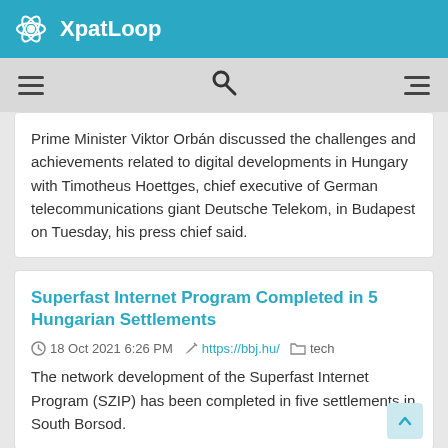XpatLoop
Prime Minister Viktor Orbán discussed the challenges and achievements related to digital developments in Hungary with Timotheus Hoettges, chief executive of German telecommunications giant Deutsche Telekom, in Budapest on Tuesday, his press chief said.
Superfast Internet Program Completed in 5 Hungarian Settlements
18 Oct 2021 6:26 PM  https://bbj.hu/  tech
The network development of the Superfast Internet Program (SZIP) has been completed in five settlements in South Borsod.